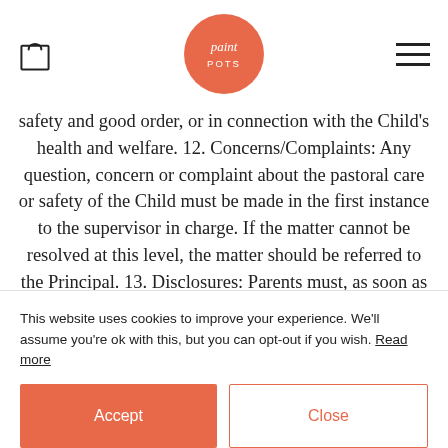[Figure (logo): Paint Pots logo — coral/salmon circle with 'paint pots' text in white]
safety and good order, or in connection with the Child's health and welfare. 12. Concerns/Complaints: Any question, concern or complaint about the pastoral care or safety of the Child must be made in the first instance to the supervisor in charge. If the matter cannot be resolved at this level, the matter should be referred to the Principal. 13. Disclosures: Parents must, as soon as possible, disclose to the School in confidence any known medical condition, health problem or allergy affecting the Child, any learning
This website uses cookies to improve your experience. We'll assume you're ok with this, but you can opt-out if you wish. Read more
Accept
Close